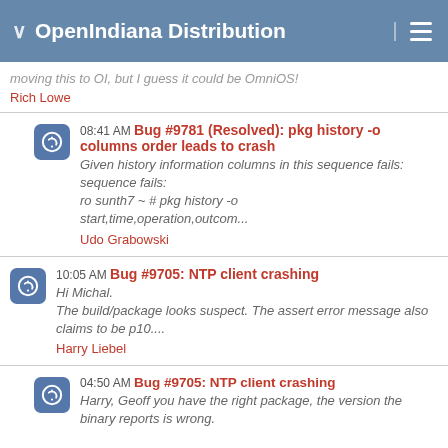OpenIndiana Distribution
moving this to OI, but I guess it could be OmniOS!
Rich Lowe
08:41 AM Bug #9781 (Resolved): pkg history -o columns order leads to crash
Given history information columns in this sequence fails:
ro sunth7 ~ # pkg history -o start,time,operation,outcom...
Udo Grabowski
10:05 AM Bug #9705: NTP client crashing
Hi Michal.
The build/package looks suspect. The assert error message also claims to be p10....
Harry Liebel
04:50 AM Bug #9705: NTP client crashing
Harry, Geoff you have the right package, the version the binary reports is wrong.